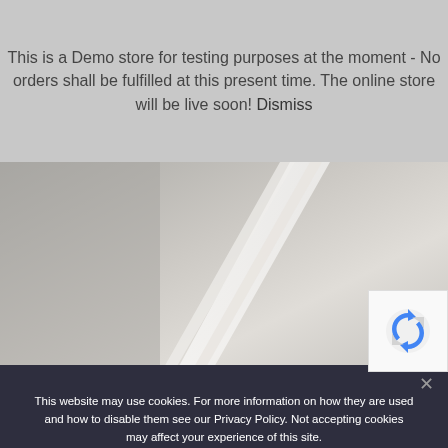This is a Demo store for testing purposes at the moment - No orders shall be fulfilled at this present time. The online store will be live soon! Dismiss
[Figure (photo): Interior photo showing white trim/window frame against a neutral grey/beige wall background]
[Figure (logo): reCAPTCHA logo badge with blue arrows circular icon]
This website may use cookies. For more information on how they are used and how to disable them see our Privacy Policy. Not accepting cookies may affect your experience of this site.
ACCEPT
DECLINE